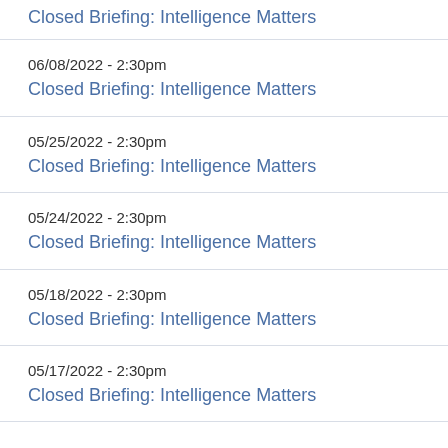Closed Briefing: Intelligence Matters
06/08/2022 - 2:30pm
Closed Briefing: Intelligence Matters
05/25/2022 - 2:30pm
Closed Briefing: Intelligence Matters
05/24/2022 - 2:30pm
Closed Briefing: Intelligence Matters
05/18/2022 - 2:30pm
Closed Briefing: Intelligence Matters
05/17/2022 - 2:30pm
Closed Briefing: Intelligence Matters